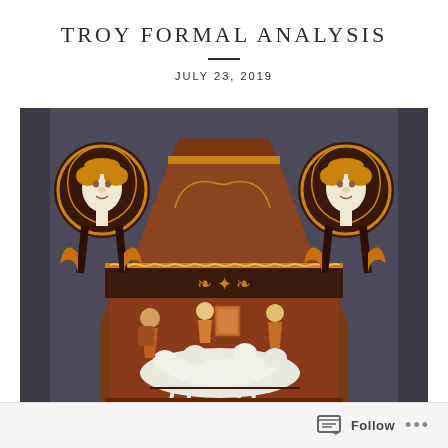TROY FORMAL ANALYSIS
JULY 23, 2019
[Figure (photo): Close-up photograph of an ancient Greek red-figure volute krater (large decorative vase) with elaborate ornamentation. The vase features two female head handles at the top with detailed white and golden-brown facial features surrounded by ornate scrollwork. The body of the vase depicts a mythological scene with figures including horses and warriors rendered in white and terracotta against a dark background. The vase has intricate decorative borders and patterns throughout.]
Follow ...